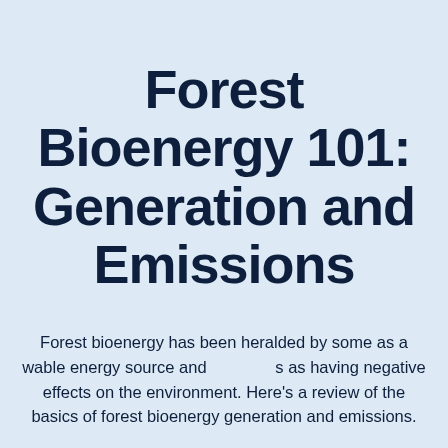Forest Bioenergy 101: Generation and Emissions
Forest bioenergy has been heralded by some as a renewable energy source and others as having negative effects on the environment. Here's a review of the basics of forest bioenergy generation and emissions.